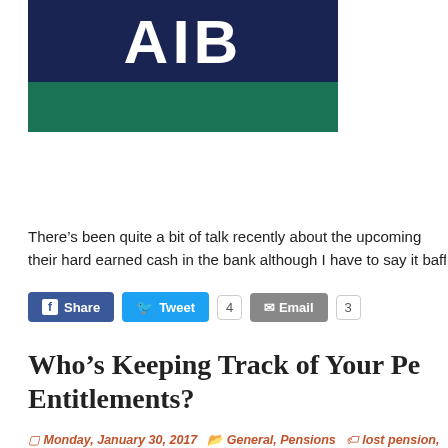[Figure (logo): AIB bank logo with navy background and white text 'AIB', with a green bar below]
There’s been quite a bit of talk recently about the upcoming their hard earned cash in the bank although I have to say it baffle
[Figure (infographic): Social share buttons: Facebook Share, Tweet with count 4, Email with count 3]
Who’s Keeping Track of Your Pe Entitlements?
Monday, January 30, 2017   General, Pensions   lost pension,
[Figure (infographic): Social share buttons: Facebook Share, Tweet with count 3, Email with count 2]
[Figure (photo): Partial preview image of a document with letter D visible]